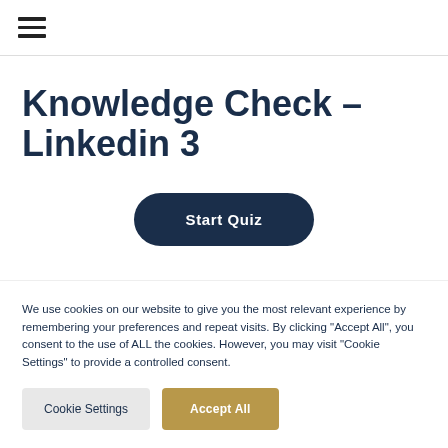☰
Knowledge Check – Linkedin 3
Start Quiz
We use cookies on our website to give you the most relevant experience by remembering your preferences and repeat visits. By clicking "Accept All", you consent to the use of ALL the cookies. However, you may visit "Cookie Settings" to provide a controlled consent.
Cookie Settings | Accept All